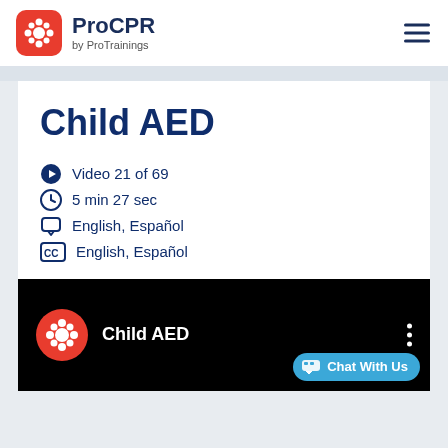[Figure (logo): ProCPR by ProTrainings logo with red rounded square icon and dark blue text]
Child AED
Video 21 of 69
5 min 27 sec
English, Español
English, Español
[Figure (screenshot): Video thumbnail showing ProCPR logo circle on black background with Child AED title text and three-dot menu icon]